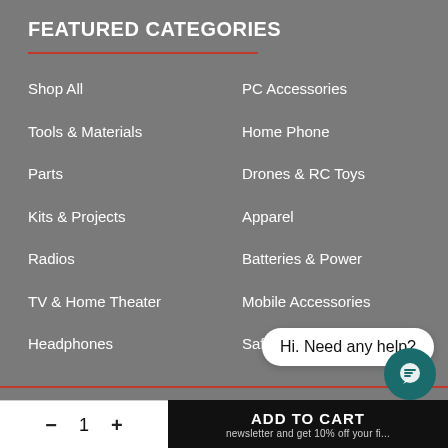FEATURED CATEGORIES
Shop All
PC Accessories
Tools & Materials
Home Phone
Parts
Drones & RC Toys
Kits & Projects
Apparel
Radios
Batteries & Power
TV & Home Theater
Mobile Accessories
Headphones
Safety & PPE
Hi. Need any help?
SIGN UP FOR EXCLUSIVE DISCOUNTS AND RADIOSHACK NEWS BY EMAIL
- 1 +
ADD TO CART newsletter and get 10% off your fi...